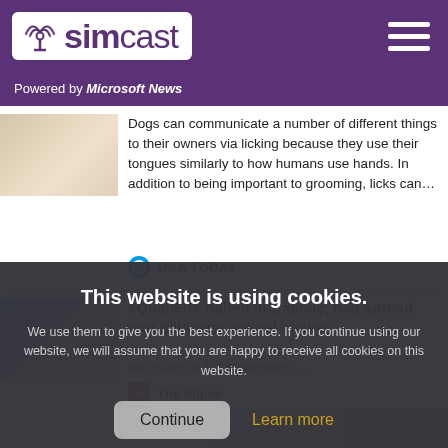simcast — Powered by Microsoft News
[Figure (screenshot): Thumbnail image of a person's hand or skin close-up]
Dogs can communicate a number of different things to their owners via licking because they use their tongues similarly to how humans use hands. In addition to being important to grooming, licks can…
USA TODAY
[Figure (photo): Thumbnail image related to QuailFire article — appears to show smoke or fire]
#QuailFire halted in Castaic, had spread into hills near animal shelter
according to first responders....
The Signal
[Figure (photo): Partial photo of a person, bottom of page]
This website is using cookies. We use them to give you the best experience. If you continue using our website, we will assume that you are happy to receive all cookies on this website.